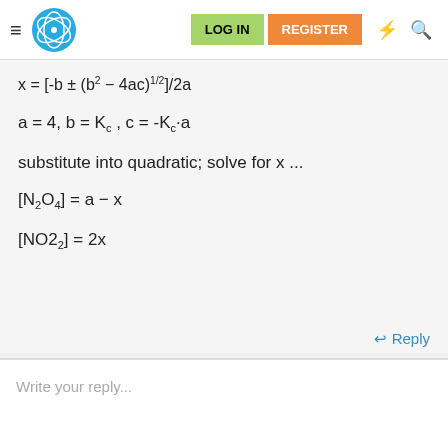Navigation bar with logo, LOG IN, REGISTER buttons
substitute into quadratic; solve for x ...
Reply
Write your reply...